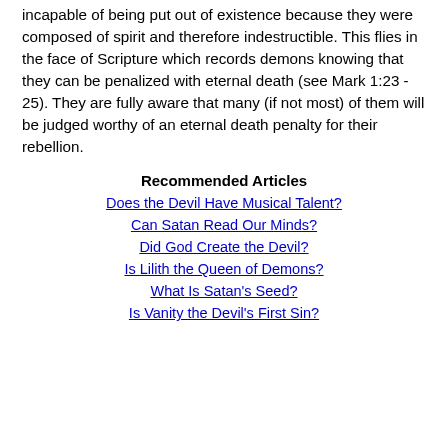incapable of being put out of existence because they were composed of spirit and therefore indestructible. This flies in the face of Scripture which records demons knowing that they can be penalized with eternal death (see Mark 1:23 - 25). They are fully aware that many (if not most) of them will be judged worthy of an eternal death penalty for their rebellion.
Recommended Articles
Does the Devil Have Musical Talent?
Can Satan Read Our Minds?
Did God Create the Devil?
Is Lilith the Queen of Demons?
What Is Satan's Seed?
Is Vanity the Devil's First Sin?